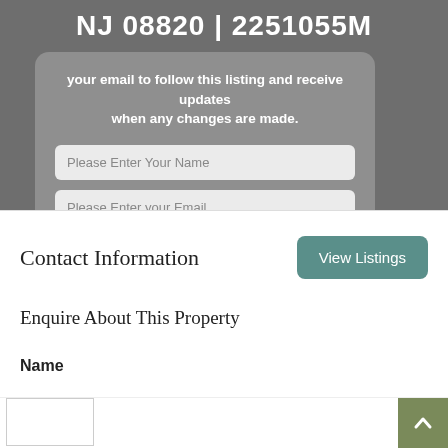NJ 08820 | 2251055M
your email to follow this listing and receive updates when any changes are made.
Please Enter Your Name
Please Enter your Email
Contact Information
View Listings
Enquire About This Property
Name